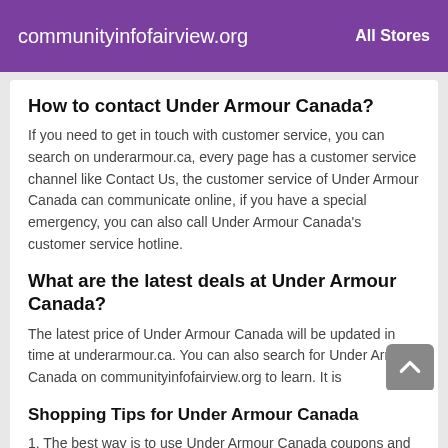communityinfofairview.org   All Stores
How to contact Under Armour Canada?
If you need to get in touch with customer service, you can search on underarmour.ca, every page has a customer service channel like Contact Us, the customer service of Under Armour Canada can communicate online, if you have a special emergency, you can also call Under Armour Canada's customer service hotline.
What are the latest deals at Under Armour Canada?
The latest price of Under Armour Canada will be updated in time at underarmour.ca. You can also search for Under Armour Canada on communityinfofairview.org to learn. It is recommended the Under Armour Canada customers to check the underarmour.ca on a regular basis so as to avoid missing any bargain information of the brand.
Shopping Tips for Under Armour Canada
1. The best way is to use Under Armour Canada coupons and Under Armour Canada promo codes from communityinfofairview.org directly.